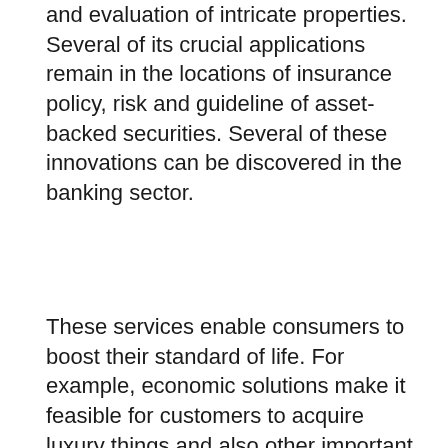and evaluation of intricate properties. Several of its crucial applications remain in the locations of insurance policy, risk and guideline of asset-backed securities. Several of these innovations can be discovered in the banking sector.
These services enable consumers to boost their standard of life. For example, economic solutions make it feasible for customers to acquire luxury things and also other important items. They allow the customer to conserve and also delight in possessions while earning money. Likewise, monetary services are essential for federal governments. They permit them to raise money for capital expenditure and also income. Business banks acquisition Treasury Costs and also various